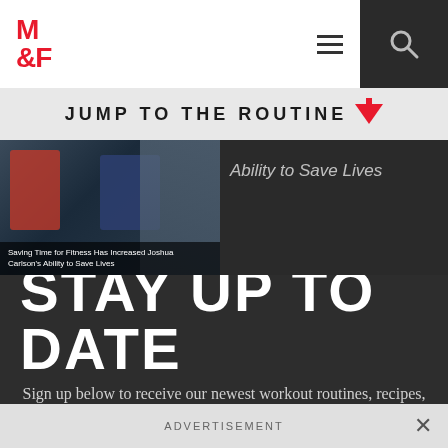M&F (Muscle & Fitness) navigation bar with logo, hamburger menu, and search icon
JUMP TO THE ROUTINE ↓
[Figure (photo): Article thumbnail showing military/coast guard personnel with caption 'Saving Time for Fitness Has Increased Joshua Carlson's Ability to Save Lives' and partial text 'Ability to Save Lives' on dark background]
STAY UP TO DATE
Sign up below to receive our newest workout routines, recipes, news stories, and offers from our partners
Enter Your Email Address
I want content for...
Both   Men   Women
ADVERTISEMENT ×